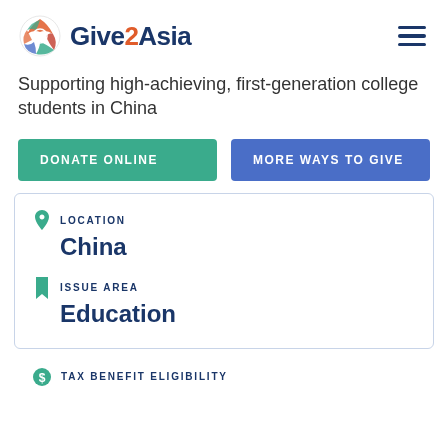Give2Asia
Supporting high-achieving, first-generation college students in China
DONATE ONLINE
MORE WAYS TO GIVE
LOCATION
China
ISSUE AREA
Education
TAX BENEFIT ELIGIBILITY